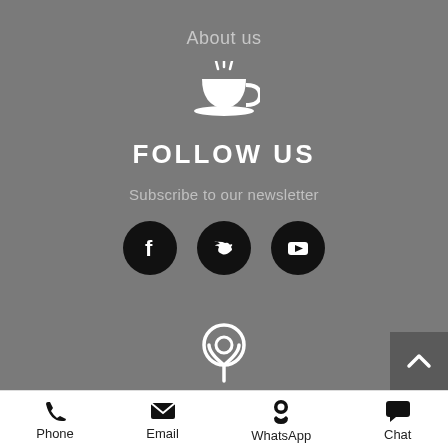About us
[Figure (illustration): White coffee cup with steam icon]
FOLLOW US
Subscribe to our newsletter
[Figure (illustration): Three social media icons: Facebook, Twitter, YouTube]
[Figure (illustration): Location pin icon]
Bridgeway Precinct, 1 Bridgeway, Century City, Cape
Phone  Email  WhatsApp  Chat